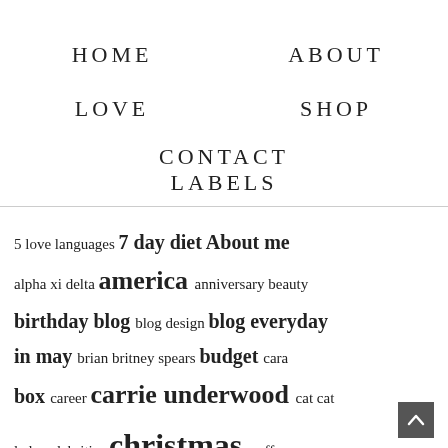HOME   ABOUT   LOVE   SHOP   CONTACT   LABELS
LABELS
5 love languages 7 day diet About me alpha xi delta america anniversary beauty birthday blog blog design blog everyday in may brian britney spears budget cara box career carrie underwood cat cat lady celebrities christmas coffee cra december diet disney wedding touche